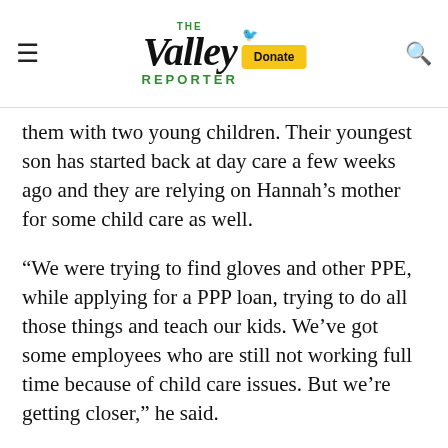The Valley Reporter
them with two young children. Their youngest son has started back at day care a few weeks ago and they are relying on Hannah’s mother for some child care as well.
“We were trying to find gloves and other PPE, while applying for a PPP loan, trying to do all those things and teach our kids. We’ve got some employees who are still not working full time because of child care issues. But we’re getting closer,” he said.
vation PT also works with student athletes at GMVS and Skalecke said their current thinking is to